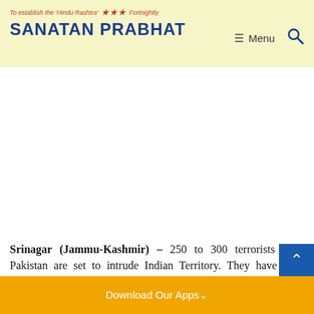To establish the 'Hindu Rashtra' Fortnightly — SANATAN PRABHAT
Srinagar (Jammu-Kashmir) – 250 to 300 terrorists from Pakistan are set to intrude Indian Territory. They have been gathered on the launch pad; Indian military and Border Security Forces are prepared to stop them. Border Security Forc…